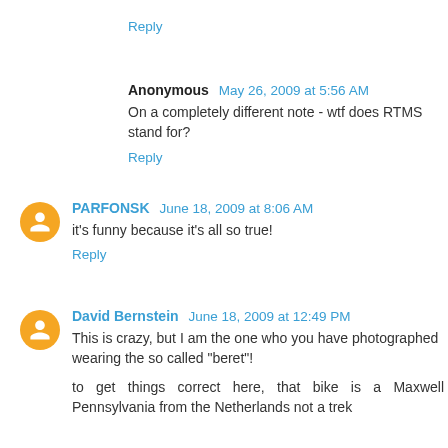Reply
Anonymous  May 26, 2009 at 5:56 AM
On a completely different note - wtf does RTMS stand for?
Reply
PARFONSK  June 18, 2009 at 8:06 AM
it's funny because it's all so true!
Reply
David Bernstein  June 18, 2009 at 12:49 PM
This is crazy, but I am the one who you have photographed wearing the so called "beret"!
to get things correct here, that bike is a Maxwell Pennsylvania from the Netherlands not a trek